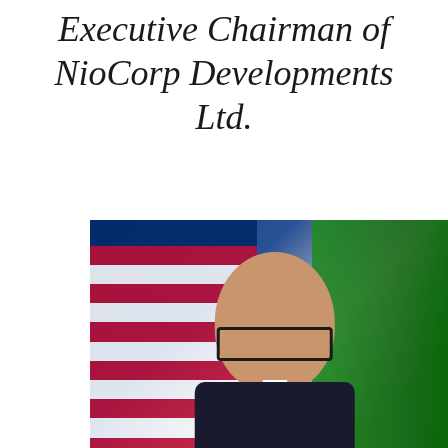Executive Chairman of NioCorp Developments Ltd.
[Figure (photo): Official portrait photograph of a man wearing glasses and a dark suit, standing in front of an American flag on the left and a green flag on the right.]